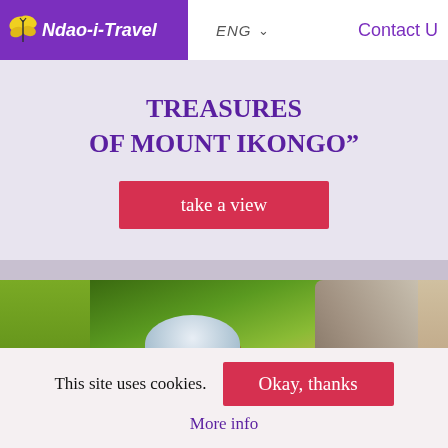[Figure (screenshot): Website header with purple logo box showing 'Ndao-i-Travel' and navigation showing ENG dropdown and Contact Us link]
TREASURES OF MOUNT IKONGO”
take a view
[Figure (photo): Outdoor photo showing a person wearing a helmet climbing near large rocks with lush green trees in the background]
This site uses cookies.
Okay, thanks
More info